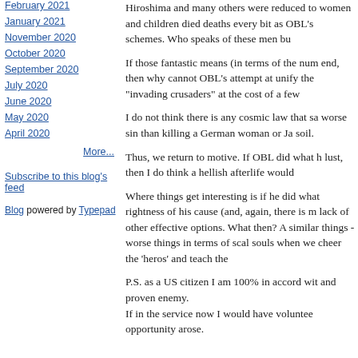February 2021
January 2021
November 2020
October 2020
September 2020
July 2020
June 2020
May 2020
April 2020
More...
Subscribe to this blog's feed
Blog powered by Typepad
Hiroshima and many others were reduced to women and children died deaths every bit as OBL's schemes. Who speaks of these men bu
If those fantastic means (in terms of the num end, then why cannot OBL's attempt at unify the "invading crusaders" at the cost of a few
I do not think there is any cosmic law that sa worse sin than killing a German woman or Ja soil.
Thus, we return to motive. If OBL did what h lust, then I do think a hellish afterlife would
Where things get interesting is if he did what rightness of his cause (and, again, there is m lack of other effective options. What then? A similar things - worse things in terms of scal souls when we cheer the 'heros' and teach the
P.S. as a US citizen I am 100% in accord wit and proven enemy. If in the service now I would have voluntee opportunity arose.